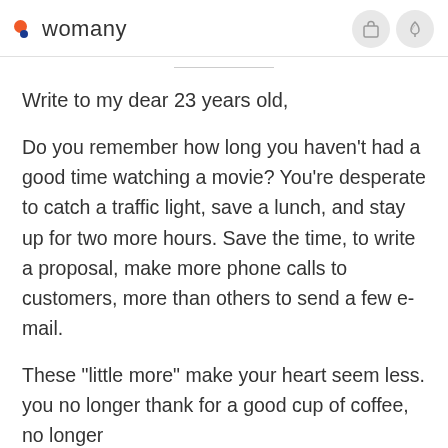womany
Write to my dear 23 years old,
Do you remember how long you haven't had a good time watching a movie? You're desperate to catch a traffic light, save a lunch, and stay up for two more hours. Save the time, to write a proposal, make more phone calls to customers, more than others to send a few e-mail.
These "little more" make your heart seem less. you no longer thank for a good cup of coffee, no longer